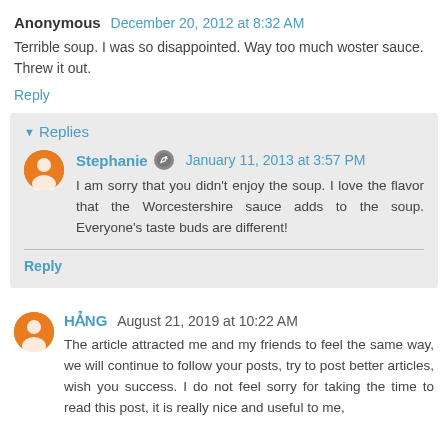Anonymous December 20, 2012 at 8:32 AM
Terrible soup. I was so disappointed. Way too much woster sauce. Threw it out.
Reply
Replies
Stephanie January 11, 2013 at 3:57 PM
I am sorry that you didn't enjoy the soup. I love the flavor that the Worcestershire sauce adds to the soup. Everyone's taste buds are different!
Reply
HẢNG August 21, 2019 at 10:22 AM
The article attracted me and my friends to feel the same way, we will continue to follow your posts, try to post better articles, wish you success. I do not feel sorry for taking the time to read this post, it is really nice and useful to me,